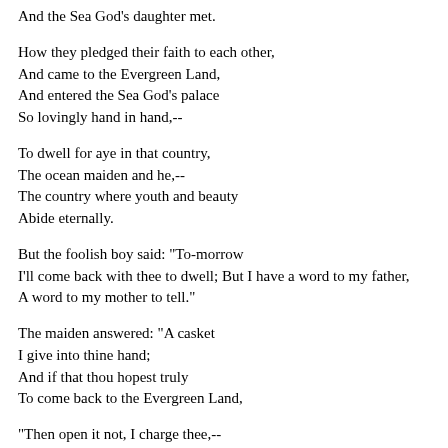And the Sea God's daughter met.
How they pledged their faith to each other,
And came to the Evergreen Land,
And entered the Sea God's palace
So lovingly hand in hand,--
To dwell for aye in that country,
The ocean maiden and he,--
The country where youth and beauty
Abide eternally.
But the foolish boy said: "To-morrow
I'll come back with thee to dwell; But I have a word to my father,
A word to my mother to tell."
The maiden answered: "A casket
I give into thine hand;
And if that thou hopest truly
To come back to the Evergreen Land,
"Then open it not, I charge thee,--
Open it not, I beseech! "
So the boy rowed home o'er the billows
To Suminoye's beach.